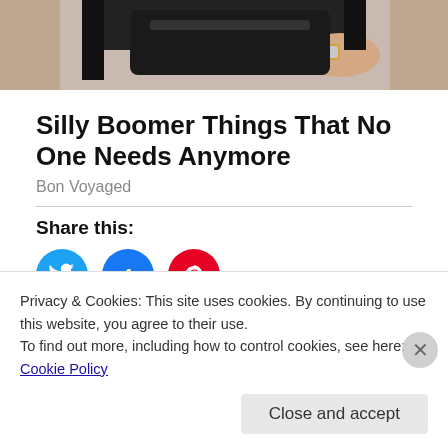[Figure (photo): Top portion of a person in a black shirt with a wristwatch, holding something dark.]
Silly Boomer Things That No One Needs Anymore
Bon Voyaged
Share this:
[Figure (infographic): Social share buttons: Twitter (blue), Facebook (blue), Pinterest (red) with badge showing 125]
[Figure (infographic): Like button and a strip of user avatar thumbnails]
Privacy & Cookies: This site uses cookies. By continuing to use this website, you agree to their use.
To find out more, including how to control cookies, see here: Cookie Policy